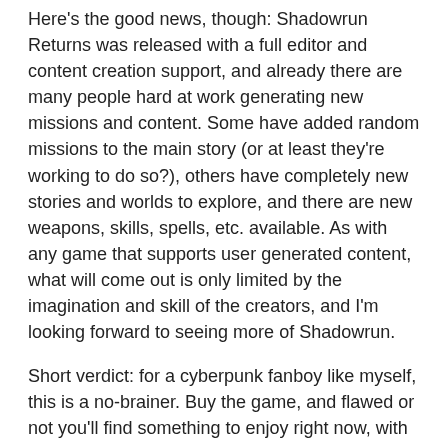Here's the good news, though: Shadowrun Returns was released with a full editor and content creation support, and already there are many people hard at work generating new missions and content. Some have added random missions to the main story (or at least they're working to do so?), others have completely new stories and worlds to explore, and there are new weapons, skills, spells, etc. available. As with any game that supports user generated content, what will come out is only limited by the imagination and skill of the creators, and I'm looking forward to seeing more of Shadowrun.
Short verdict: for a cyberpunk fanboy like myself, this is a no-brainer. Buy the game, and flawed or not you'll find something to enjoy right now, with more goodness to come. It's not a triple-A title with a gigantic budget, but in some ways I prefer a game like Shadowrun Returns to Deus Ex: Human Revolution. It's sort of like the difference between reading a good book where your mind can fill in the blanks and your imagination gets to run wild versus a highly detailed game world where most of the creativity is done for you. Both options have their pros and cons, but for $20 you can